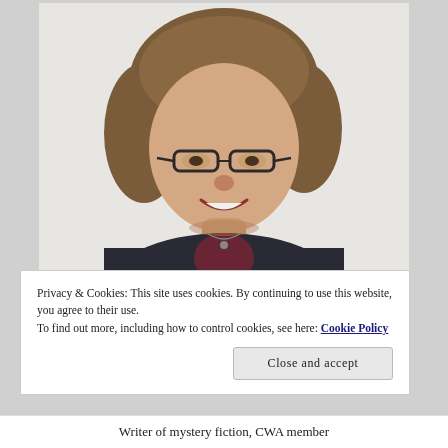[Figure (photo): Portrait photo of a smiling woman with medium-length brown hair, wearing glasses and a dark jacket with a necklace. Professional headshot against a light background.]
Privacy & Cookies: This site uses cookies. By continuing to use this website, you agree to their use.
To find out more, including how to control cookies, see here: Cookie Policy
Close and accept
Writer of mystery fiction, CWA member